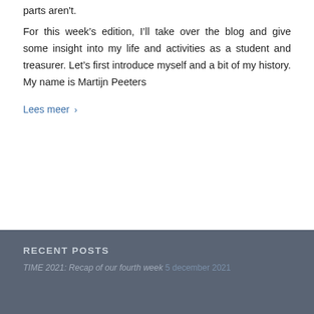parts aren't.
For this week's edition, I'll take over the blog and give some insight into my life and activities as a student and treasurer. Let's first introduce myself and a bit of my history. My name is Martijn Peeters
Lees meer ›
RECENT POSTS
TIME 2021: Recap of our fourth week  5 december 2021